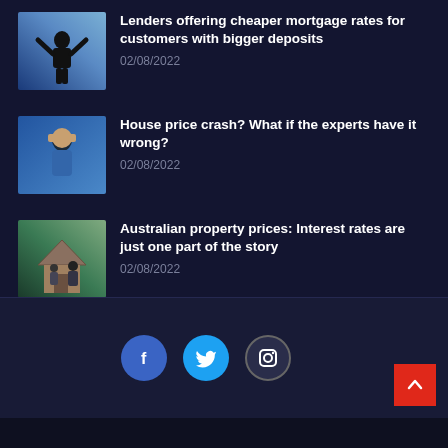[Figure (photo): Person raising arms in celebration against blue sky background]
Lenders offering cheaper mortgage rates for customers with bigger deposits
02/08/2022
[Figure (photo): Man looking stressed, hand on forehead, blue shirt]
House price crash? What if the experts have it wrong?
02/08/2022
[Figure (photo): People standing outside a property/house]
Australian property prices: Interest rates are just one part of the story
02/08/2022
Social media links: Facebook, Twitter, Instagram. Back to top button.